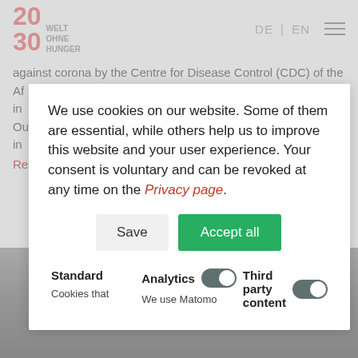[Figure (screenshot): Website header with logo '20 WELT OHNE HUNGER 30', language switcher DE | EN, and hamburger menu icon]
against corona by the Centre for Disease Control (CDC) of the Af... in... Ou... in...
Re...
We use cookies on our website. Some of them are essential, while others help us to improve this website and your user experience. Your consent is voluntary and can be revoked at any time on the Privacy page.
Save | Accept all
Standard
Cookies that...
Analytics
We use Matomo...
Third party content